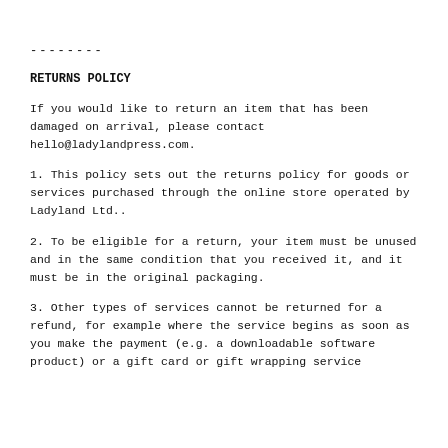--------
RETURNS POLICY
If you would like to return an item that has been damaged on arrival, please contact hello@ladylandpress.com.
1. This policy sets out the returns policy for goods or services purchased through the online store operated by Ladyland Ltd..
2. To be eligible for a return, your item must be unused and in the same condition that you received it, and it must be in the original packaging.
3. Other types of services cannot be returned for a refund, for example where the service begins as soon as you make the payment (e.g. a downloadable software product) or a gift card or gift wrapping service